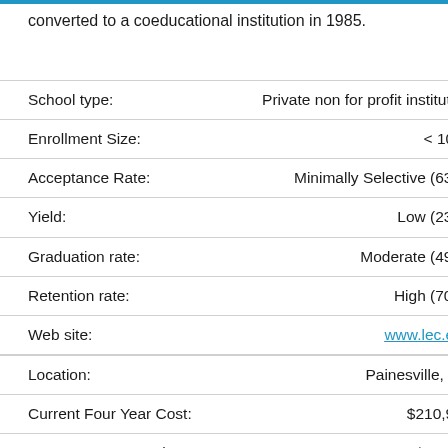converted to a coeducational institution in 1985.
| Field | Value |
| --- | --- |
| School type: | Private non for profit institution |
| Enrollment Size: | < 1000 |
| Acceptance Rate: | Minimally Selective (63%) |
| Yield: | Low (23%) |
| Graduation rate: | Moderate (49%) |
| Retention rate: | High (70%) |
| Web site: | www.lec.edu |
| Location: | Painesville, OH |
| Current Four Year Cost: | $210,938 |
| Current Avg. Annual Cost: | $52,734 |